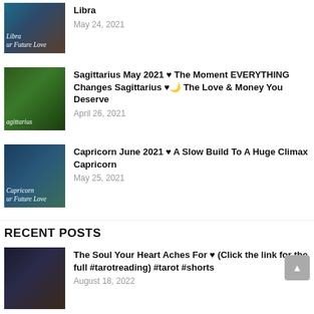[Figure (photo): Tarot cards thumbnail with text 'Libra ur Future Love']
Libra
May 24, 2021
[Figure (photo): Tarot cards thumbnail with text 'agittarius']
Sagittarius May 2021 ♥ The Moment EVERYTHING Changes Sagittarius ♥🌙 The Love & Money You Deserve
April 26, 2021
[Figure (photo): Tarot cards thumbnail with text 'Capricorn ur Future Love']
Capricorn June 2021 ♥ A Slow Build To A Huge Climax Capricorn
May 25, 2021
RECENT POSTS
[Figure (photo): Tarot card with candle thumbnail]
The Soul Your Heart Aches For ♥ (Click the link for the full #tarotreading) #tarot #shorts
August 18, 2022
[Figure (photo): Tarot cards thumbnail for Gemini]
Gemini 🌙 THIS COMMUNICATION CHANGES